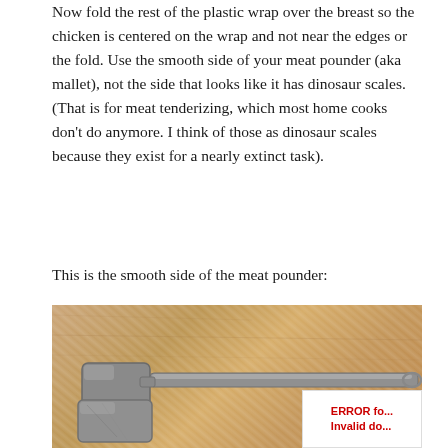Now fold the rest of the plastic wrap over the breast so the chicken is centered on the wrap and not near the edges or the fold. Use the smooth side of your meat pounder (aka mallet), not the side that looks like it has dinosaur scales. (That is for meat tenderizing, which most home cooks don't do anymore. I think of those as dinosaur scales because they exist for a nearly extinct task).
This is the smooth side of the meat pounder:
[Figure (photo): A metal meat pounder (mallet) with a smooth flat head resting on a wooden cutting board covered with plastic wrap. The mallet has a long metal handle and a rectangular smooth-faced head. An error overlay appears in the bottom right corner reading 'ERROR fo... Invalid do...']